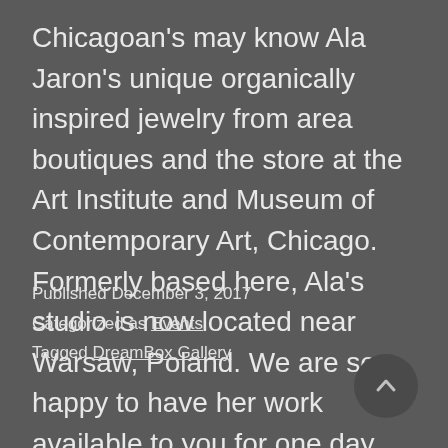Chicagoan's may know Ala Jaron's unique organically inspired jewelry from area boutiques and the store at the Art Institute and Museum of Contemporary Art, Chicago. Formerly based here, Ala's studio is now located near Warsaw, Poland. We are so happy to have her work available to you for one day only. A L A  J… Continue reading
Published December 3, 2017
Categorized as Events
Tagged DreamBox Gallery